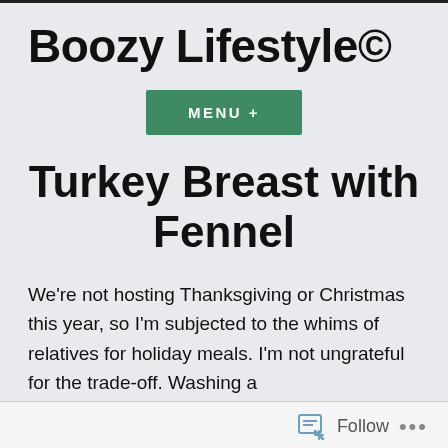Boozy Lifestyle©
[Figure (other): Green button labeled MENU +]
Turkey Breast with Fennel
We're not hosting Thanksgiving or Christmas this year, so I'm subjected to the whims of relatives for holiday meals. I'm not ungrateful for the trade-off. Washing a
Follow  •••